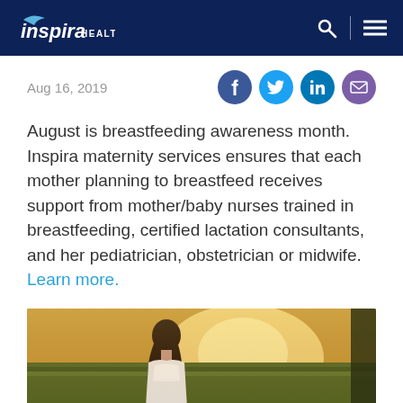inspira HEALTH
Aug 16, 2019
August is breastfeeding awareness month. Inspira maternity services ensures that each mother planning to breastfeed receives support from mother/baby nurses trained in breastfeeding, certified lactation consultants, and her pediatrician, obstetrician or midwife. Learn more.
[Figure (photo): A woman with long hair photographed from the side in a golden sunset field, wearing a white top.]